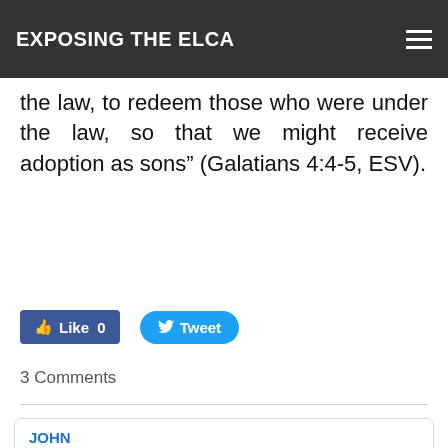EXPOSING THE ELCA
the law, to redeem those who were under the law, so that we might receive adoption as sons" (Galatians 4:4-5, ESV).
[Figure (other): Social sharing buttons: Facebook Like (0) and Twitter Tweet]
3 Comments
JOHN
9/17/2018 03:09:14 am

Of course, Jesus Himself states that His "kingdom is not of this world" (John 18:36), which proves the lie in Prof. Pickett's teaching. No wonder that kind of liberation